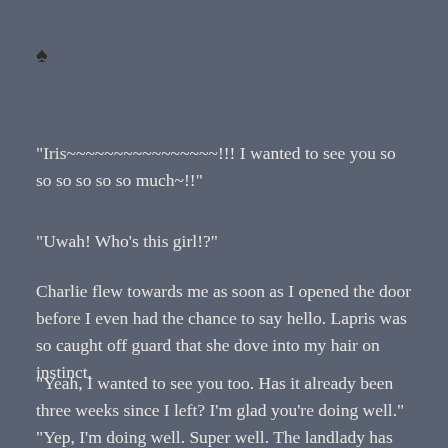♠
“Iris~~~~~~~~~~~~~~~~!!! I wanted to see you so so so so so so much~!!”
“Uwah! Who’s this girl!?”
Charlie flew towards me as soon as I opened the door before I even had the chance to say hello. Lapris was so caught off guard that she dove into my hair on instinct.
“Yeah, I wanted to see you too. Has it already been three weeks since I left? I’m glad you’re doing well.”
“Yep, I’m doing well. Super well. The landlady has